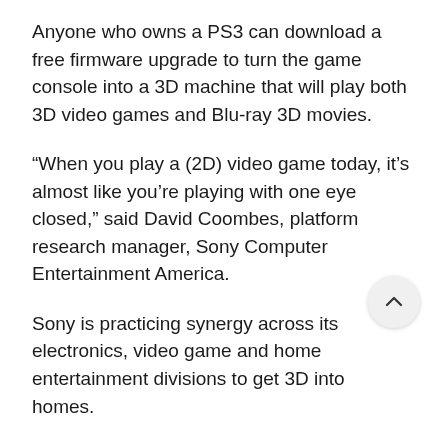Anyone who owns a PS3 can download a free firmware upgrade to turn the game console into a 3D machine that will play both 3D video games and Blu-ray 3D movies.
“When you play a (2D) video game today, it’s almost like you’re playing with one eye closed,” said David Coombes, platform research manager, Sony Computer Entertainment America.
Sony is practicing synergy across its electronics, video game and home entertainment divisions to get 3D into homes.
Consumers who purchase any of the new 3D Bravia TVs, which will be released in the United States next month, will get a copy of Sony Pictures Home Entertainment’s “Cloudy with a